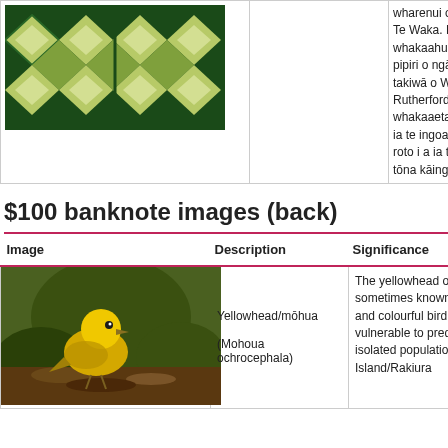| Image | Description | Significance |
| --- | --- | --- |
| [woven pattern image] |  | wharenui o Kaakati, i Wh Te Waka. Ka noho ko Wh whakaahuatanga mō te I pipiri o ngā iwi e ono o t takiwā o Whakatū. He ka Rutherford ki te takiwā o whakaaetanga ki te tūra ia te ingoa Lord Rutherfo roto i a ia tēnei whakaare tōna kāinga, ā, mate noa |
$100 banknote images (back)
| Image | Description | Significance |
| --- | --- | --- |
| [yellowhead bird photo] | Yellowhead/mōhua (Mohoua ochrocephala) | The yellowhead or m sometimes known as and colourful bird ne vulnerable to predato isolated populations Island/Rakiura |